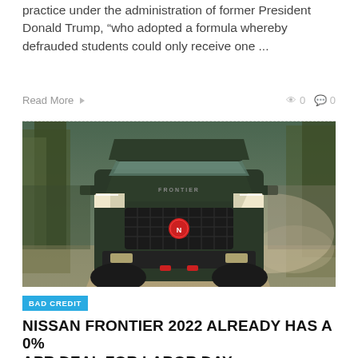practice under the administration of former President Donald Trump, “who adopted a formula whereby defrauded students could only receive one …
Read More  0  0
[Figure (photo): A dark green Nissan Frontier pickup truck driving on a dirt road through a forest, front view, kicking up dust.]
BAD CREDIT
NISSAN FRONTIER 2022 ALREADY HAS A 0% APR DEAL FOR LABOR DAY